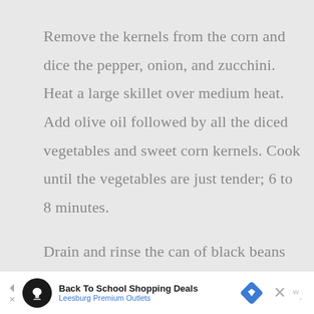Remove the kernels from the corn and dice the pepper, onion, and zucchini. Heat a large skillet over medium heat. Add olive oil followed by all the diced vegetables and sweet corn kernels. Cook until the vegetables are just tender; 6 to 8 minutes.

Drain and rinse the can of black beans and add to the pan along with the cumin and salt. Stir and cook just until
[Figure (other): Advertisement banner: Back To School Shopping Deals - Leesburg Premium Outlets]